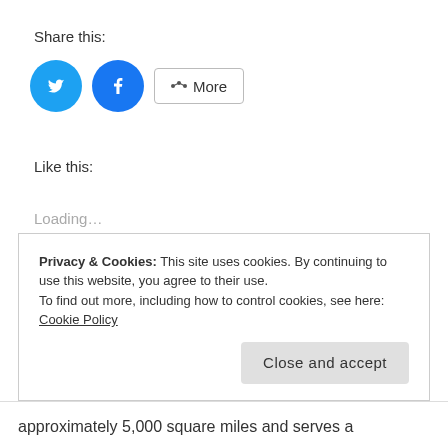Share this:
[Figure (other): Social sharing buttons: Twitter (blue circle with bird icon), Facebook (blue circle with f icon), and a More button with share icon]
Like this:
Loading...
Privacy & Cookies: This site uses cookies. By continuing to use this website, you agree to their use. To find out more, including how to control cookies, see here: Cookie Policy
approximately 5,000 square miles and serves a